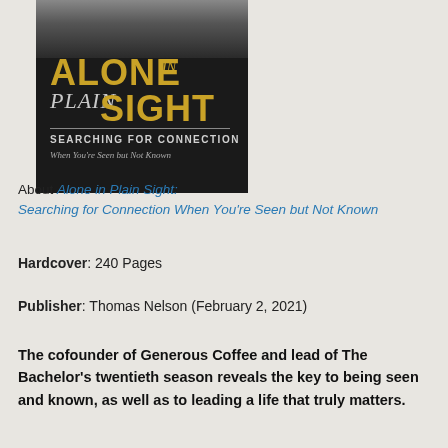[Figure (illustration): Book cover for 'Alone in Plain Sight: Searching for Connection When You're Seen but Not Known' showing a dark background with a person's lower face, title in gold and grey letters]
About Alone in Plain Sight: Searching for Connection When You're Seen but Not Known
Hardcover: 240 Pages
Publisher: Thomas Nelson (February 2, 2021)
The cofounder of Generous Coffee and lead of The Bachelor's twentieth season reveals the key to being seen and known, as well as to leading a life that truly matters.